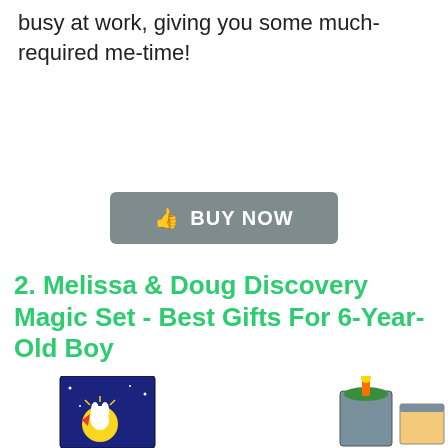busy at work, giving you some much-required me-time!
[Figure (other): Gray button with thumbs up icon labeled BUY NOW]
2. Melissa & Doug Discovery Magic Set - Best Gifts For 6-Year-Old Boy
[Figure (photo): Photo of Melissa & Doug Discovery Magic Set showing colorful magic boxes with rabbit and moon illustrations]